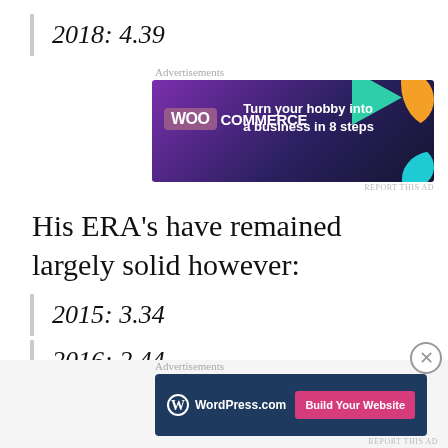2018: 4.39
[Figure (other): WooCommerce advertisement banner: Turn your hobby into a business in 8 steps]
His ERA's have remained largely solid however:
2015: 3.34
2016: 2.44
[Figure (other): WordPress.com advertisement banner: Build Your Website]